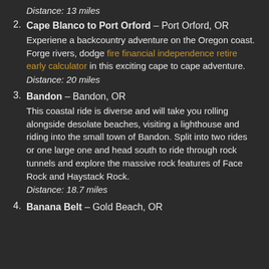Distance: 13 miles
Cape Blanco to Port Orford – Port Orford, OR
Experiene a backcountry adventure on the Oregon coast. Forge rivers, dodge fire financial independence retire early calculator in this exciting cape to cape adventure.
Distance: 20 miles
Bandon – Bandon, OR
This coastal ride is diverse and will take you rolling alongside desolate beaches, visiting a lighthouse and riding into the small town of Bandon. Split into two rides or one large one and head south to ride through rock tunnels and explore the massive rock features of Face Rock and Haystack Rock.
Distance: 18.7 miles
Banana Belt – Gold Beach, OR